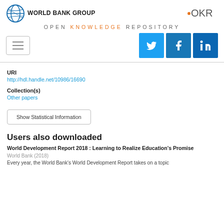[Figure (logo): World Bank Group logo with globe icon and text]
[Figure (logo): OKR logo]
OPEN KNOWLEDGE REPOSITORY
[Figure (other): Hamburger menu icon and social sharing buttons for Twitter, Facebook, LinkedIn]
URI
http://hdl.handle.net/10986/16690
Collection(s)
Other papers
Show Statistical Information
Users also downloaded
World Development Report 2018 : Learning to Realize Education's Promise
World Bank (2018)
Every year, the World Bank's World Development Report takes on a topic